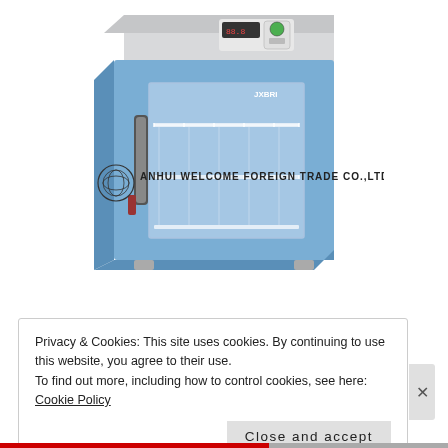[Figure (photo): Photo of a laboratory incubator/oven with a blue metal body, glass front door showing wire shelves inside, and digital control panel on top. A watermark reads 'ANHUI WELCOME FOREIGN TRADE CO.,LTD' with a circular logo.]
Privacy & Cookies: This site uses cookies. By continuing to use this website, you agree to their use.
To find out more, including how to control cookies, see here: Cookie Policy
Close and accept